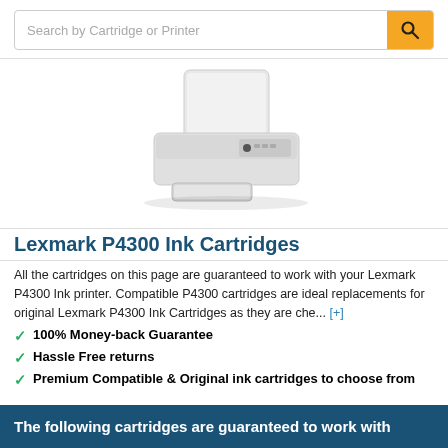Search by Cartridge or Printer
[Figure (photo): Lexmark P4300 all-in-one inkjet printer, white, shown at slight angle with paper tray extended]
Lexmark P4300 Ink Cartridges
All the cartridges on this page are guaranteed to work with your Lexmark P4300 Ink printer. Compatible P4300 cartridges are ideal replacements for original Lexmark P4300 Ink Cartridges as they are che... [+]
100% Money-back Guarantee
Hassle Free returns
Premium Compatible & Original ink cartridges to choose from
The following cartridges are guaranteed to work with